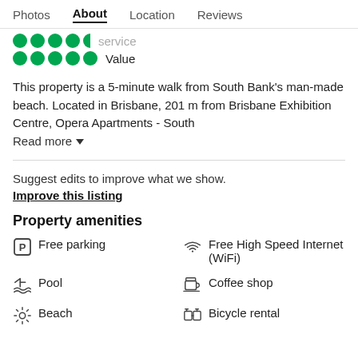Photos  About  Location  Reviews
[Figure (infographic): Rating dots for Service (partially visible) and Value (5 green dots)]
This property is a 5-minute walk from South Bank's man-made beach. Located in Brisbane, 201 m from Brisbane Exhibition Centre, Opera Apartments - South
Read more ▼
Suggest edits to improve what we show.
Improve this listing
Property amenities
Free parking
Free High Speed Internet (WiFi)
Pool
Coffee shop
Beach
Bicycle rental